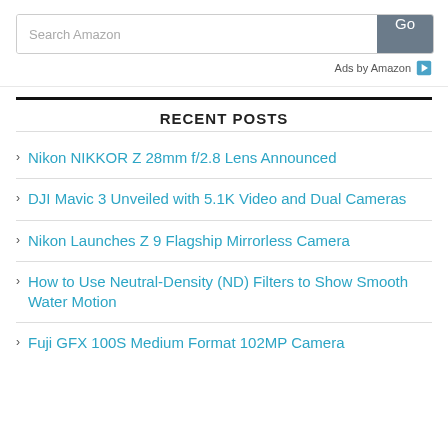[Figure (screenshot): Amazon search bar with text input field reading 'Search Amazon' and a dark grey 'Go' button]
Ads by Amazon ▶
RECENT POSTS
Nikon NIKKOR Z 28mm f/2.8 Lens Announced
DJI Mavic 3 Unveiled with 5.1K Video and Dual Cameras
Nikon Launches Z 9 Flagship Mirrorless Camera
How to Use Neutral-Density (ND) Filters to Show Smooth Water Motion
Fuji GFX 100S Medium Format 102MP Camera